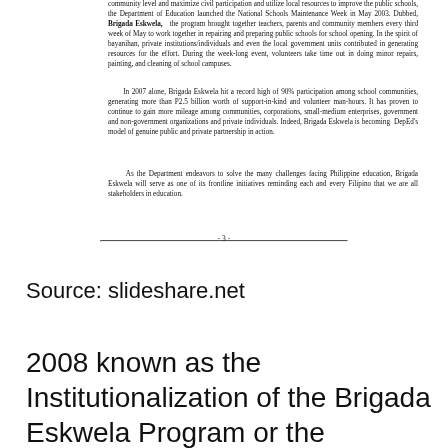community level and maximize civil participation and utilize local resources to improve the public schools, the Department of Education launched the National Schools Maintenance Week in May 2003. Dubbed, Brigada Eskwela, the program brought together teachers, parents and community members every third week of May to work together in repairing and preparing public schools for school opening. In the spirit of bayanihan, private institutions/individuals and even the local government units contributed in generating resources for the effort. During the week-long event, volunteers take time out in doing minor repairs, painting, and cleaning of school campuses.
In 2007 alone, Brigada Eskwela hit a record high of 90% participation among school communities, generating more than P2.5 billion worth of support-in-kind and volunteer man-hours. It has proven to continue to gain more mileage among communities, corporations, small-medium enterprises, government and non-government organizations and private individuals. Indeed, Brigada Eskwela is becoming DepEd's model of genuine public and private partnership in action.
As the Department endeavors to solve the many challenges facing Philippine education, Brigada Eskwela will serve as one of its frontline initiatives reminding each and every Filipino that we are all stakeholders in education.
- 3 -
Source: slideshare.net
2008 known as the Institutionalization of the Brigada Eskwela Program or the